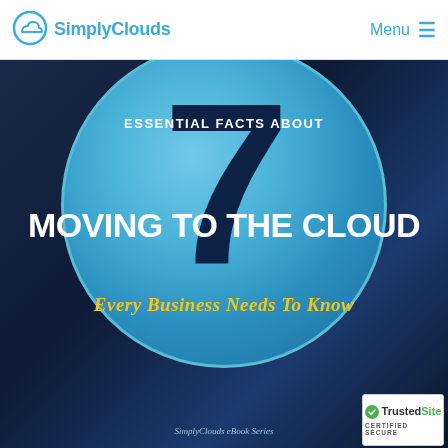SimplyClouds — Menu
[Figure (illustration): Book cover for '7 Essential Facts About Moving to the Cloud Every Business Needs To Know' — SimplyClouds eBook Series. Dark navy blue background with large light blue circle containing the number 7. White bold uppercase text 'ESSENTIAL FACTS ABOUT' and 'MOVING TO THE CLOUD', yellow italic text 'Every Business Needs To Know'. Bottom right corner shows TrustedSite Certified Secure badge.]